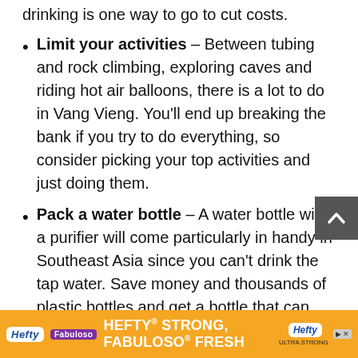drinking is one way to go to cut costs.
Limit your activities – Between tubing and rock climbing, exploring caves and riding hot air balloons, there is a lot to do in Vang Vieng. You'll end up breaking the bank if you try to do everything, so consider picking your top activities and just doing them.
Pack a water bottle – A water bottle with a purifier will come particularly in handy in Southeast Asia since you can't drink the tap water. Save money and thousands of plastic bottles and get a bottle that can purify the tap water for
[Figure (other): Dark grey scroll-to-top button with upward chevron arrow, positioned at right side of page]
[Figure (other): Orange advertisement banner for Hefty and Fabuloso products with text HEFTY STRONG, FABULOSO FRESH]